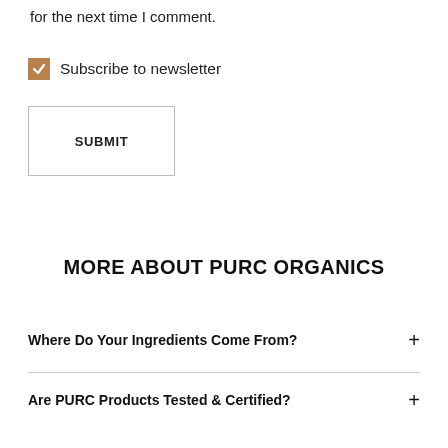for the next time I comment.
☑ Subscribe to newsletter
SUBMIT
MORE ABOUT PURC ORGANICS
Where Do Your Ingredients Come From?
Are PURC Products Tested & Certified?